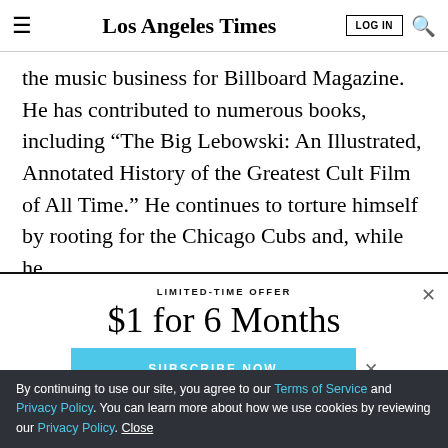Los Angeles Times — LOG IN [search]
the music business for Billboard Magazine. He has contributed to numerous books, including “The Big Lebowski: An Illustrated, Annotated History of the Greatest Cult Film of All Time.” He continues to torture himself by rooting for the Chicago Cubs and, while he
LIMITED-TIME OFFER
$1 for 6 Months
SUBSCRIBE NOW
By continuing to use our site, you agree to our Terms of Service and Privacy Policy. You can learn more about how we use cookies by reviewing our Privacy Policy. Close